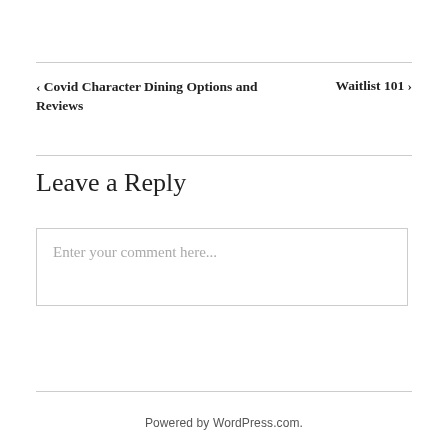< Covid Character Dining Options and Reviews
Waitlist 101 >
Leave a Reply
Enter your comment here...
Powered by WordPress.com.